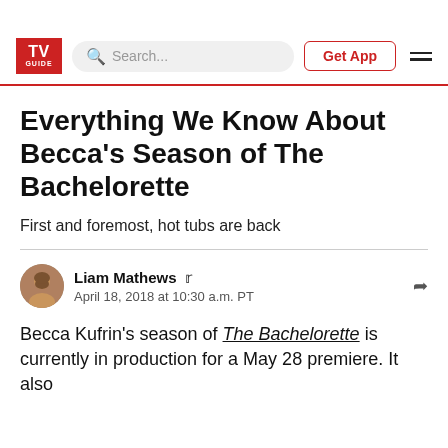TV GUIDE | Search... | Get App
Everything We Know About Becca's Season of The Bachelorette
First and foremost, hot tubs are back
Liam Mathews
April 18, 2018 at 10:30 a.m. PT
Becca Kufrin's season of The Bachelorette is currently in production for a May 28 premiere. It also...